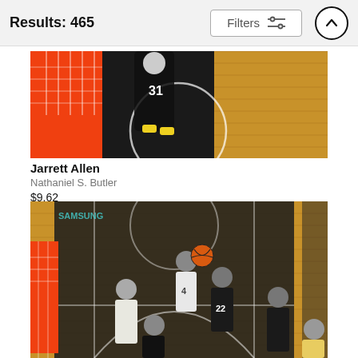Results: 465
Filters
[Figure (photo): Overhead view of NBA basketball game, player wearing #31, black uniform, near the basket on a wooden court]
Jarrett Allen
Nathaniel S. Butler
$9.62
[Figure (photo): NBA basketball game action shot showing players in black uniforms (#22) and white/gold uniforms driving to the basket, with basketball visible, wooden court floor with black painted center court]